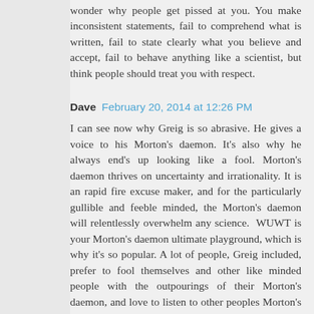wonder why people get pissed at you. You make inconsistent statements, fail to comprehend what is written, fail to state clearly what you believe and accept, fail to behave anything like a scientist, but think people should treat you with respect.
Dave  February 20, 2014 at 12:26 PM
I can see now why Greig is so abrasive. He gives a voice to his Morton's daemon. It's also why he always end's up looking like a fool. Morton's daemon thrives on uncertainty and irrationality. It is an rapid fire excuse maker, and for the particularly gullible and feeble minded, the Morton's daemon will relentlessly overwhelm any science. WUWT is your Morton's daemon ultimate playground, which is why it's so popular. A lot of people, Greig included, prefer to fool themselves and other like minded people with the outpourings of their Morton's daemon, and love to listen to other peoples Morton's daemon. The